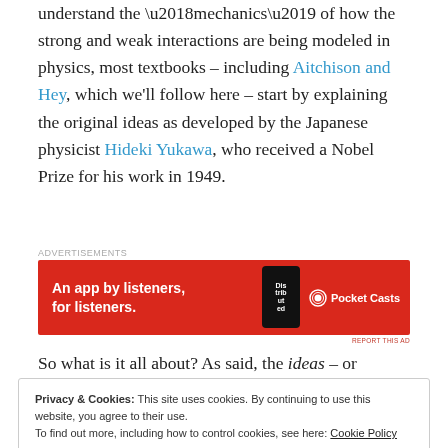understand the ‘mechanics’ of how the strong and weak interactions are being modeled in physics, most textbooks – including Aitchison and Hey, which we’ll follow here – start by explaining the original ideas as developed by the Japanese physicist Hideki Yukawa, who received a Nobel Prize for his work in 1949.
[Figure (other): Advertisement banner for Pocket Casts app: red background with white bold text 'An app by listeners, for listeners.' and Pocket Casts logo on the right, phone image in center.]
So what is it all about? As said, the ideas – or
Privacy & Cookies: This site uses cookies. By continuing to use this website, you agree to their use.
To find out more, including how to control cookies, see here: Cookie Policy
[Close and accept button]
the force carrier is the gluon, which carries the so-